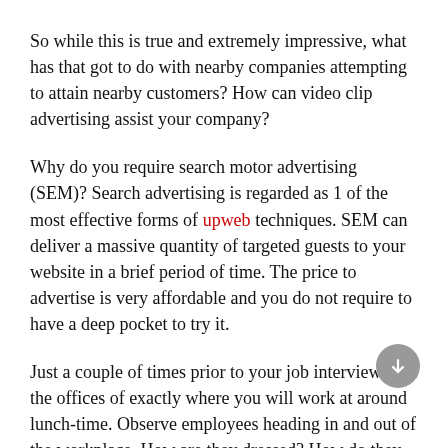So while this is true and extremely impressive, what has that got to do with nearby companies attempting to attain nearby customers? How can video clip advertising assist your company?
Why do you require search motor advertising (SEM)? Search advertising is regarded as 1 of the most effective forms of upweb techniques. SEM can deliver a massive quantity of targeted guests to your website in a brief period of time. The price to advertise is very affordable and you do not require to have a deep pocket to try it.
Just a couple of times prior to your job interview visit the offices of exactly where you will work at around lunch-time. Observe employees heading in and out of the workplace. How are they dressed? How do they appear to behave with every other? If it is a big business, you could go to the reception and ask for a marketing brochure to consider away with you. How are you treated by the reception employees? What initial impact do you